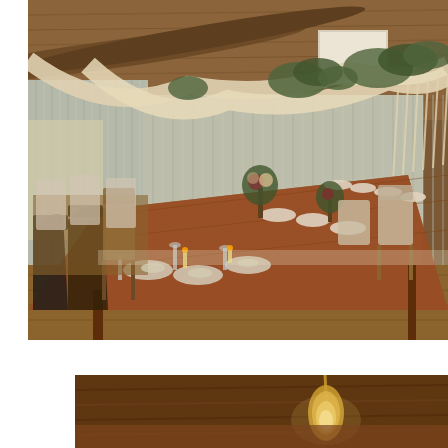[Figure (photo): Interior of a rustic barn wedding venue with corrugated metal walls, wooden log beam ceiling, and long wooden dining tables set with plates, glassware, and floral centerpieces. Cream-colored draped fabric with macrame fringe hangs from the ceiling, decorated with greenery. Multiple mismatched chairs line the tables. Warm natural light comes through windows at the far end.]
[Figure (photo): Partial view of a wooden surface with a warm golden pendant light visible, appearing to be a close-up detail of the barn venue interior.]